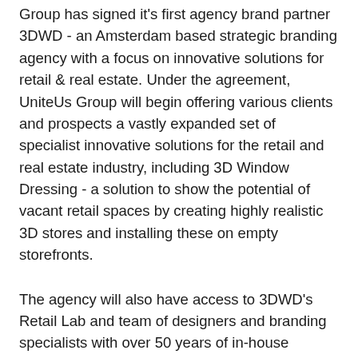Group has signed it's first agency brand partner 3DWD - an Amsterdam based strategic branding agency with a focus on innovative solutions for retail & real estate. Under the agreement, UniteUs Group will begin offering various clients and prospects a vastly expanded set of specialist innovative solutions for the retail and real estate industry, including 3D Window Dressing - a solution to show the potential of vacant retail spaces by creating highly realistic 3D stores and installing these on empty storefronts.
The agency will also have access to 3DWD's Retail Lab and team of designers and branding specialists with over 50 years of in-house experience in the manufacturing and execution of signage and wayfinding projects.
“At 3DWD, we create unique identities & experiences for brands. We look forward to working around the world with the...